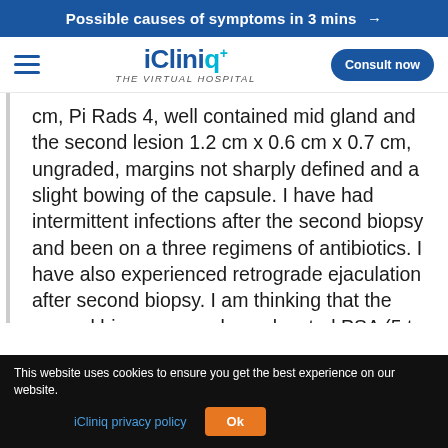Possible causes of symptoms in 3 mins →
[Figure (logo): iCliniq+ The Virtual Hospital logo with hamburger menu and Consult now button]
cm, Pi Rads 4, well contained mid gland and the second lesion 1.2 cm x 0.6 cm x 0.7 cm, ungraded, margins not sharply defined and a slight bowing of the capsule. I have had intermittent infections after the second biopsy and been on a three regimens of antibiotics. I have also experienced retrograde ejaculation after second biopsy. I am thinking that the second biopsy caused my elevated PSA (5 to 16), swelling of my prostate and perhaps I can remain on active surveillance with antibiotics since the MRI
This website uses cookies to ensure you get the best experience on our website. iCliniq privacy policy Ok